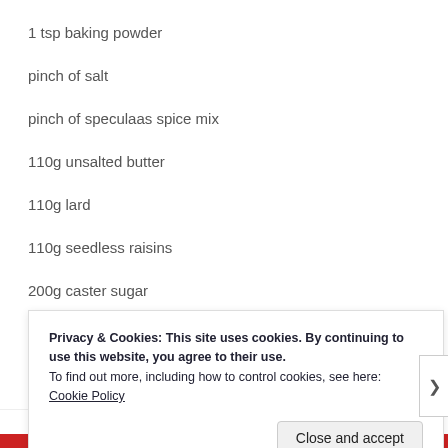1 tsp baking powder
pinch of salt
pinch of speculaas spice mix
110g unsalted butter
110g lard
110g seedless raisins
200g caster sugar
Privacy & Cookies: This site uses cookies. By continuing to use this website, you agree to their use.
To find out more, including how to control cookies, see here: Cookie Policy
Advertisements